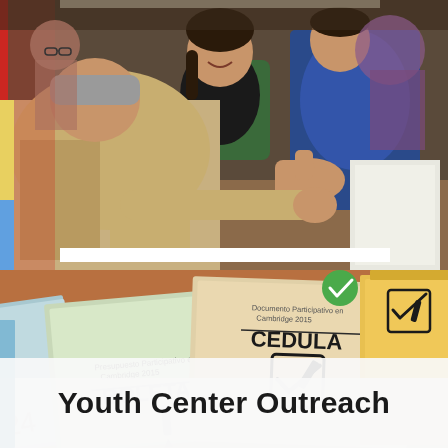[Figure (photo): People seated at a table in a meeting or community event. An older man in a beige jacket is in the foreground gesturing or reaching across. A woman with short hair and a dark top sits across from him smiling. A man in a blue button-down shirt is visible in the background. The setting appears to be a community or civic meeting.]
[Figure (photo): Close-up of voting/ballot documents on a wooden table. A light green booklet labeled 'BOLETA' with the header 'Presupuesto Participativo en Cambridge 2015' lies on the left. A beige/tan document labeled 'CEDULA' with the header 'Documento Participativo en Cambridge 2015' and a checkbox/pencil graphic sits in the center. Additional yellow/orange documents and more ballots are visible on the right side. A green checkmark sticker is visible on the central document.]
Youth Center Outreach